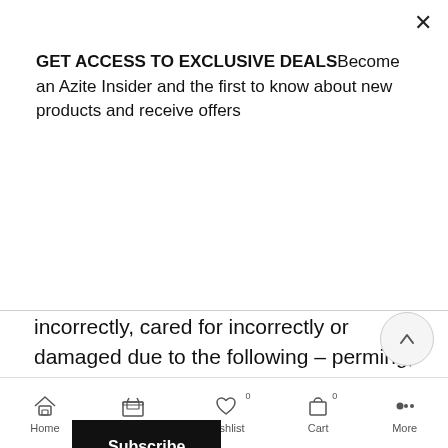GET ACCESS TO EXCLUSIVE DEALSBecome an Azite Insider and the first to know about new products and receive offers
Subscribe
incorrectly, cared for incorrectly or damaged due to the following – perming, colouring or cutting. Azite Hair recommends you read all instructions before use. We recommend that all professional products should be used by trained hair extension stylists (preferably Azite Hair trained). Human Hair extensions can be coloured by professional hairdressers. Some images used may be used a reference only and the product you receive may
Home  Shop  Wishlist  Cart  More